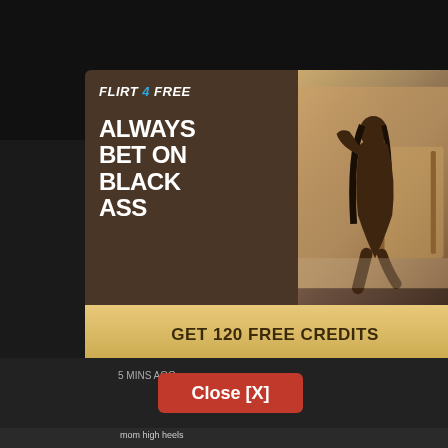[Figure (screenshot): Flirt4Free adult advertisement popup with dark brown left panel showing logo and headline text 'ALWAYS BET ON BLACK ASS', a photo of a woman on the right panel, and a gold 'GET 120 FREE CREDITS' call-to-action button at the bottom]
Close [X]
mom high heels